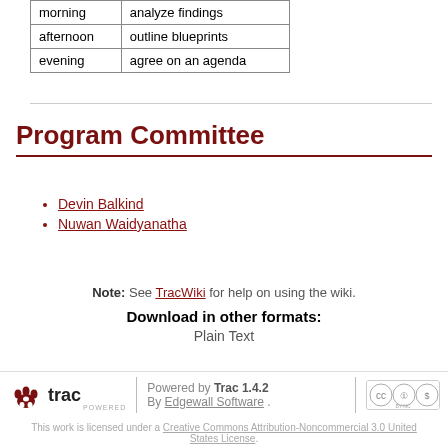| morning | analyze findings |
| afternoon | outline blueprints |
| evening | agree on an agenda |
Program Committee
Devin Balkind
Nuwan Waidyanatha
Note: See TracWiki for help on using the wiki.
Download in other formats:
Plain Text
Powered by Trac 1.4.2 By Edgewall Software .
This work is licensed under a Creative Commons Attribution-Noncommercial 3.0 United States License.